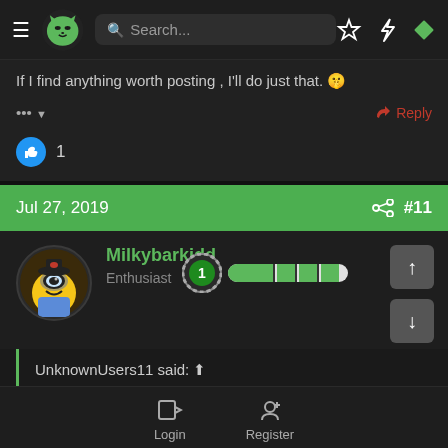Navigation bar with logo, search, and icons
If I find anything worth posting , I'll do just that. 🤫
... ▼   Reply
👍 1
Jul 27, 2019   #11
Milkybarkidd
Enthusiast
UnknownUsers11 said: ⬆
Login   Register